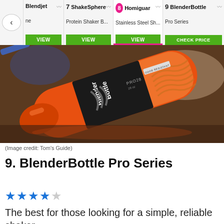[Figure (screenshot): Navigation bar showing product comparison items: Blendjet (partially visible, with back arrow), 7 ShakeSphere Protein Shaker B..., 8 Homiguar Stainless Steel Sh... (active/highlighted with pink badge and underline), 9 BlenderBottle Pro Series. Each item has a VIEW or CHECK PRICE green button.]
[Figure (photo): Close-up photo of an orange BlenderBottle Pro Series shaker bottle lying on its side on a dark surface. The black label reads BlenderBottle PRO28 with stripe logo. The orange body reveals the metal wire whisk ball inside.]
(Image credit: Tom's Guide)
9. BlenderBottle Pro Series
★★★★☆ (3.5 out of 5 stars)
The best for those looking for a simple, reliable shaker.